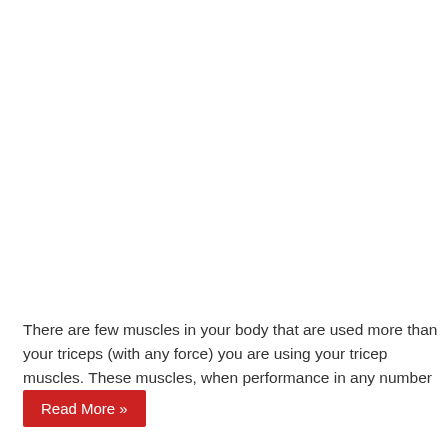There are few muscles in your body that are used more than your triceps (with any force) you are using your tricep muscles. These muscles, when performance in any number of areas.
Read More »